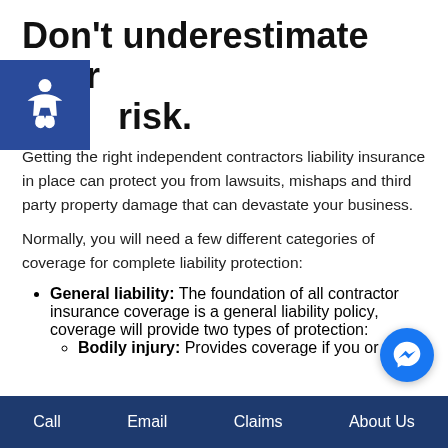Don't underestimate your risk.
Getting the right independent contractors liability insurance in place can protect you from lawsuits, mishaps and third party property damage that can devastate your business.
Normally, you will need a few different categories of coverage for complete liability protection:
General liability: The foundation of all contractor insurance coverage is a general liability policy, coverage will provide two types of protection:
Bodily injury: Provides coverage if you or
Call    Email    Claims    About Us